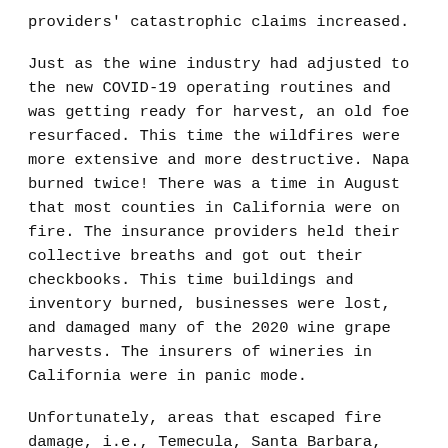providers' catastrophic claims increased.
Just as the wine industry had adjusted to the new COVID-19 operating routines and was getting ready for harvest, an old foe resurfaced. This time the wildfires were more extensive and more destructive. Napa burned twice! There was a time in August that most counties in California were on fire. The insurance providers held their collective breaths and got out their checkbooks. This time buildings and inventory burned, businesses were lost, and damaged many of the 2020 wine grape harvests. The insurers of wineries in California were in panic mode.
Unfortunately, areas that escaped fire damage, i.e., Temecula, Santa Barbara, Paso Robles, to mention a few, were suddenly looked to as the next fire victims and were caught up in the broad-brush stroke of tightening insurance underwriting guidelines. More insurance providers have or are planning to exit the